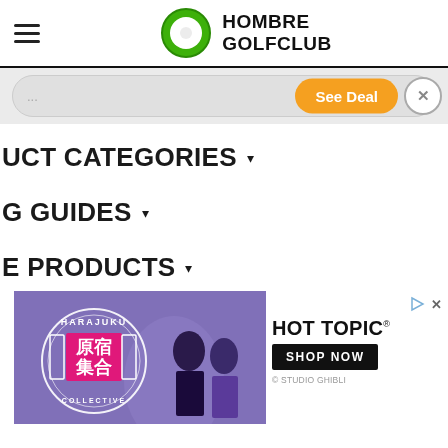[Figure (logo): Hombre Golfclub logo with green golf ball icon and bold black text]
[Figure (screenshot): Search bar with See Deal button in orange and close X circle button]
UCT CATEGORIES ▾
G GUIDES ▾
E PRODUCTS ▾
[Figure (photo): Harajuku Collective advertisement banner with two cosplay models in purple background]
[Figure (photo): Hot Topic advertisement with Shop Now button and Studio Ghibli credit]